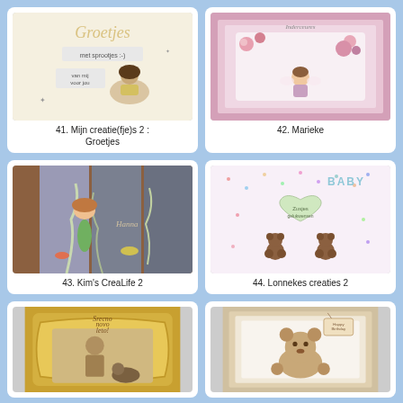[Figure (photo): Handmade greeting card with illustrated girl lying down, text 'met sprootjes :-)' and 'van mij voor jou', decorative swirly letters at top reading 'Groetjes']
41. Mijn creatie(fje)s 2 : Groetjes
[Figure (photo): Handmade greeting card with illustrated fairy/girl figure, decorated with pink flowers, on pink layered cardstock background]
42. Marieke
[Figure (photo): Handmade card featuring a mermaid illustration in green tail, with underwater coral and fish elements, name 'Hanna' written on it]
43. Kim's CreaLife 2
[Figure (photo): Handmade baby card with two brown teddy bears, heart shape, confetti background, pastel colors, text 'Zustjes' and 'BABY']
44. Lonnekes creaties 2
[Figure (photo): Handmade card with ornate gold frame, vintage-style image of girl with dog, text 'Srecno novo leto!']
[Figure (photo): Handmade card with teddy bear illustration, brown and beige tones, decorative tag/label attached]